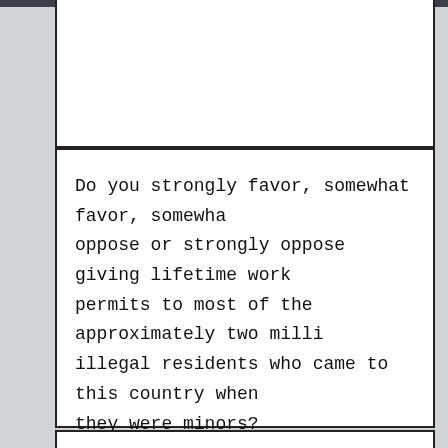Do you strongly favor, somewhat favor, somewhat oppose or strongly oppose giving lifetime work permits to most of the approximately two million illegal residents who came to this country when they were minors?